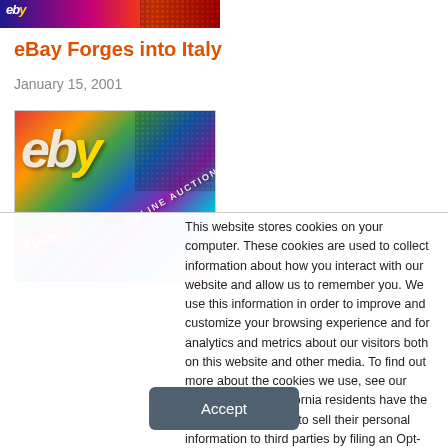[Figure (photo): Cropped top banner with colorful eBay-style graphic and dot pattern]
eBay Forges into Italy
January 15, 2001
[Figure (photo): Colorful eBay online auction image with 'ONLINE AUCTION SOLD' text overlay]
This website stores cookies on your computer. These cookies are used to collect information about how you interact with our website and allow us to remember you. We use this information in order to improve and customize your browsing experience and for analytics and metrics about our visitors both on this website and other media. To find out more about the cookies we use, see our Privacy Policy. California residents have the right to direct us not to sell their personal information to third parties by filing an Opt-Out Request: Do Not Sell My Personal Info.